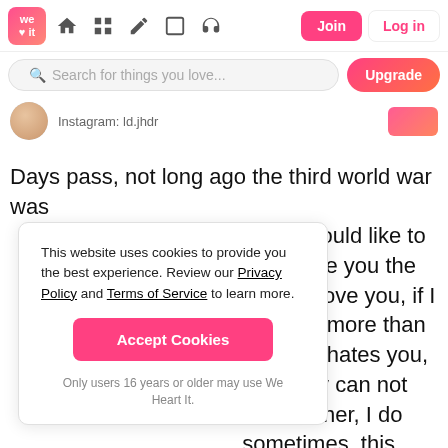We Heart It — navbar with Join and Log in buttons
Search for things you love...
Instagram: ld.jhdr
Days pass, not long ago the third world war was
This website uses cookies to provide you the best experience. Review our Privacy Policy and Terms of Service to learn more.
Accept Cookies
Only users 16 years or older may use We Heart It.
heart, I would like to do not see you the now if I love you, if I eed you more than ny brain hates you, you, why can not know either, I do sometimes, this time the brain has the word, has the decision, he is going to decide whether to touch or not the "button". So bad was the situation that my brain created the button